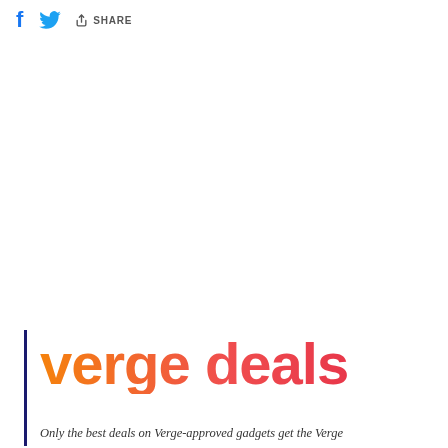f [Twitter bird icon] SHARE
[Figure (logo): Verge Deals logo in orange-to-red gradient text with rounded retro font]
Only the best deals on Verge-approved gadgets get the Verge